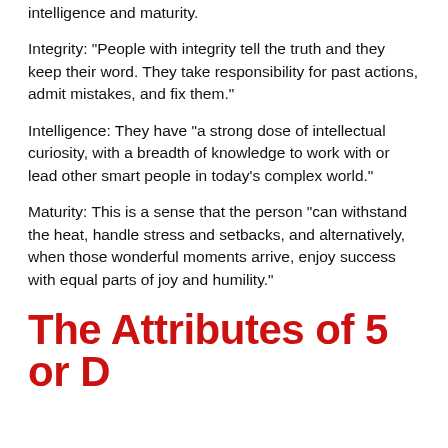intelligence and maturity.
Integrity: “People with integrity tell the truth and they keep their word. They take responsibility for past actions, admit mistakes, and fix them.”
Intelligence: They have “a strong dose of intellectual curiosity, with a breadth of knowledge to work with or lead other smart people in today’s complex world.”
Maturity: This is a sense that the person “can withstand the heat, handle stress and setbacks, and alternatively, when those wonderful moments arrive, enjoy success with equal parts of joy and humility.”
The Attributes of 5 or D